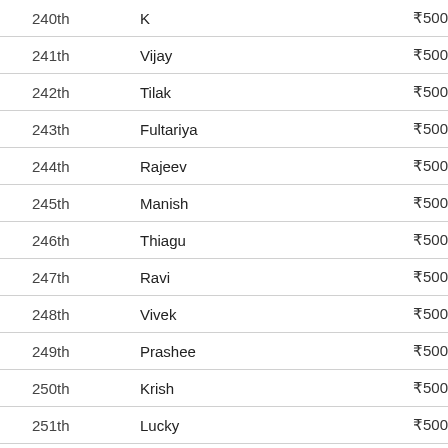| Rank | Name | Prize |
| --- | --- | --- |
| 240th | K | ₹500 |
| 241th | Vijay | ₹500 |
| 242th | Tilak | ₹500 |
| 243th | Fultariya | ₹500 |
| 244th | Rajeev | ₹500 |
| 245th | Manish | ₹500 |
| 246th | Thiagu | ₹500 |
| 247th | Ravi | ₹500 |
| 248th | Vivek | ₹500 |
| 249th | Prashee | ₹500 |
| 250th | Krish | ₹500 |
| 251th | Lucky | ₹500 |